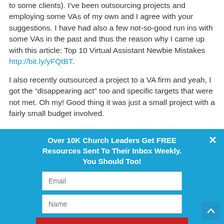to some clients). I've been outsourcing projects and employing some VAs of my own and I agree with your suggestions. I have had also a few not-so-good run ins with some VAs in the past and thus the reason why I came up with this article: Top 10 Virtual Assistant Newbie Mistakes http://bit.ly/yFQtBT.
I also recently outsourced a project to a VA firm and yeah, I got the “disappearing act” too and specific targets that were not met. Oh my! Good thing it was just a small project with a fairly small budget involved.
Over 10K Church Leaders Get FREE Resources Sent To Their Inbox Weekly. You Should Too!
[Figure (screenshot): Email signup overlay with blue background, email field, name field, and red SIGN ME UP button]